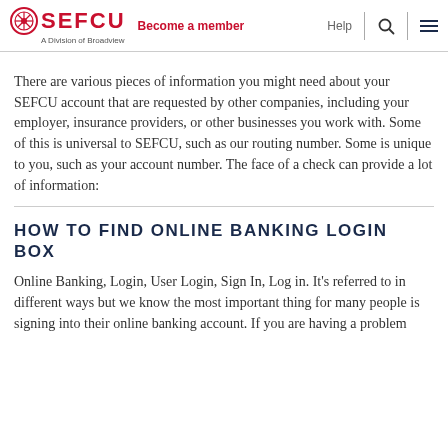SEFCU — A Division of Broadview | Become a member | Help
There are various pieces of information you might need about your SEFCU account that are requested by other companies, including your employer, insurance providers, or other businesses you work with. Some of this is universal to SEFCU, such as our routing number. Some is unique to you, such as your account number. The face of a check can provide a lot of information:
HOW TO FIND ONLINE BANKING LOGIN BOX
Online Banking, Login, User Login, Sign In, Log in. It's referred to in different ways but we know the most important thing for many people is signing into their online banking account. If you are having a problem